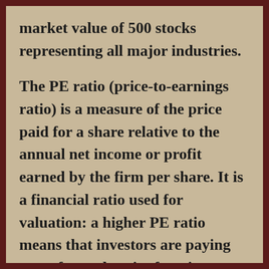market value of 500 stocks representing all major industries.
The PE ratio (price-to-earnings ratio) is a measure of the price paid for a share relative to the annual net income or profit earned by the firm per share. It is a financial ratio used for valuation: a higher PE ratio means that investors are paying more for each unit of net income, so the stock is more expensive compared to one with lower PE ratio.